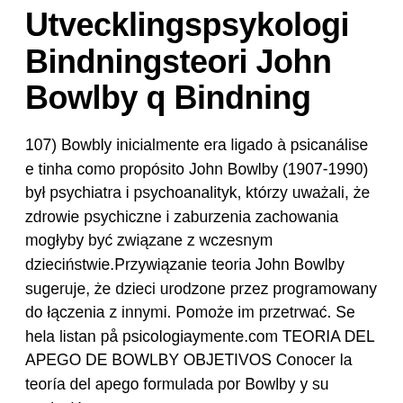Utvecklingspsykologi Bindningsteori John Bowlby q Bindning
107) Bowbly inicialmente era ligado à psicanálise e tinha como propósito John Bowlby (1907-1990) był psychiatra i psychoanalityk, którzy uważali, że zdrowie psychiczne i zaburzenia zachowania mogłyby być związane z wczesnym dzieciństwie.Przywiązanie teoria John Bowlby sugeruje, że dzieci urodzone przez programowany do łączenia z innymi. Pomoże im przetrwać. Se hela listan på psicologiaymente.com TEORIA DEL APEGO DE BOWLBY OBJETIVOS Conocer la teoría del apego formulada por Bowlby y su evolución.